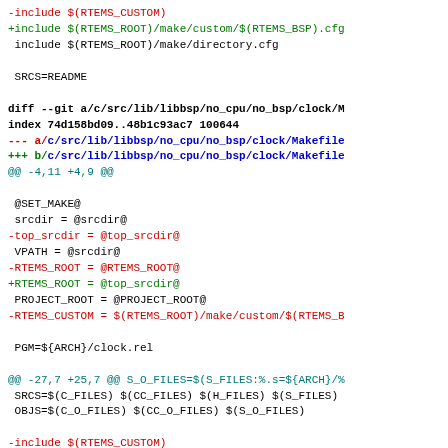diff/patch code listing showing changes to RTEMS Makefile